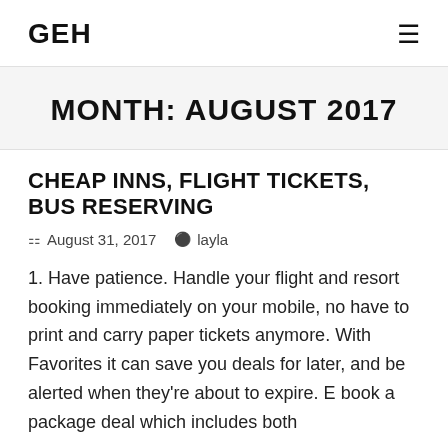GEH
MONTH: AUGUST 2017
CHEAP INNS, FLIGHT TICKETS, BUS RESERVING
August 31, 2017   layla
1. Have patience. Handle your flight and resort booking immediately on your mobile, no have to print and carry paper tickets anymore. With Favorites it can save you deals for later, and be alerted when they're about to expire. E book a package deal which includes both